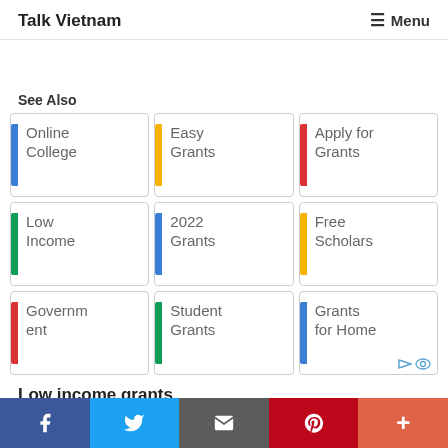Talk Vietnam   ≡ Menu
See Also
Online College
Easy Grants
Apply for Grants
Low Income
2022 Grants
Free Scholars
Government ent
Student Grants
Grants for Home
Low income grants
f  [twitter]  [email]  p  +